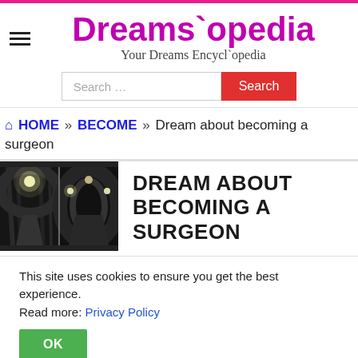Dreams`opedia — Your Dreams Encycl`opedia
Dreams`opedia
Your Dreams Encycl`opedia
Search …
HOME » BECOME » Dream about becoming a surgeon
[Figure (photo): Black and white photo of a tree-lined path at night with glowing lights]
DREAM ABOUT BECOMING A SURGEON
This site uses cookies to ensure you get the best experience. Read more: Privacy Policy
OK